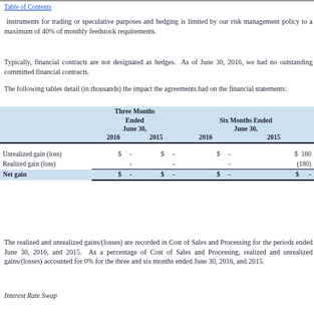Table of Contents
instruments for trading or speculative purposes and hedging is limited by our risk management policy to a maximum of 40% of monthly feedstock requirements.
Typically, financial contracts are not designated as hedges. As of June 30, 2016, we had no outstanding committed financial contracts.
The following tables detail (in thousands) the impact the agreements had on the financial statements:
|  | Three Months Ended June 30, 2016 | Three Months Ended June 30, 2015 | Six Months Ended June 30, 2016 | Six Months Ended June 30, 2015 |
| --- | --- | --- | --- | --- |
| Unrealized gain (loss) | $ - | $ - | $ - | $ 180 |
| Realized gain (loss) | - | - | - | (180) |
| Net gain | $ - | $ - | $ - | $ - |
The realized and unrealized gains/(losses) are recorded in Cost of Sales and Processing for the periods ended June 30, 2016, and 2015. As a percentage of Cost of Sales and Processing, realized and unrealized gains/(losses) accounted for 0% for the three and six months ended June 30, 2016, and 2015.
Interest Rate Swap